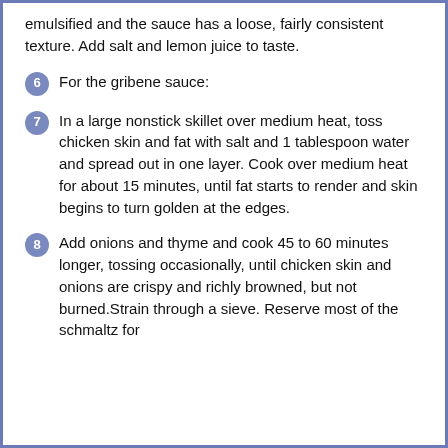emulsified and the sauce has a loose, fairly consistent texture. Add salt and lemon juice to taste.
For the gribene sauce:
In a large nonstick skillet over medium heat, toss chicken skin and fat with salt and 1 tablespoon water and spread out in one layer. Cook over medium heat for about 15 minutes, until fat starts to render and skin begins to turn golden at the edges.
Add onions and thyme and cook 45 to 60 minutes longer, tossing occasionally, until chicken skin and onions are crispy and richly browned, but not burned.Strain through a sieve. Reserve most of the schmaltz for